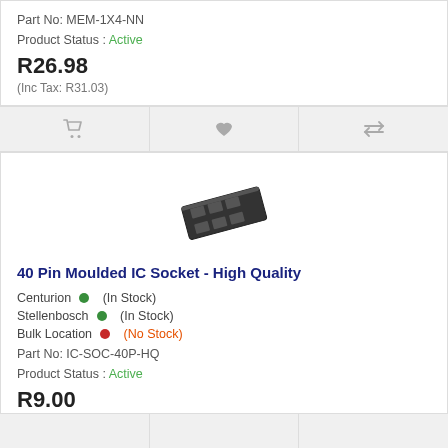Part No: MEM-1X4-NN
Product Status : Active
R26.98
(Inc Tax: R31.03)
[Figure (illustration): 40 Pin Moulded IC Socket product image]
40 Pin Moulded IC Socket - High Quality
Centurion (In Stock)
Stellenbosch (In Stock)
Bulk Location (No Stock)
Part No: IC-SOC-40P-HQ
Product Status : Active
R9.00
(Inc Tax: R10.35)